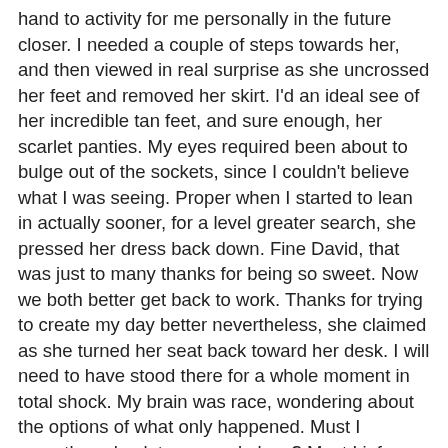hand to activity for me personally in the future closer. I needed a couple of steps towards her, and then viewed in real surprise as she uncrossed her feet and removed her skirt. I'd an ideal see of her incredible tan feet, and sure enough, her scarlet panties. My eyes required been about to bulge out of the sockets, since I couldn't believe what I was seeing. Proper when I started to lean in actually sooner, for a level greater search, she pressed her dress back down. Fine David, that was just to many thanks for being so sweet. Now we both better get back to work. Thanks for trying to create my day better nevertheless, she claimed as she turned her seat back toward her desk. I will need to have stood there for a whole moment in total shock. My brain was race, wondering about the options of what only happened. Must I recently go back to my workplace? Must I inform her how infatuated I'm with her? Hell, should I just get as much as her and hug her? She is nineteen years more than me, and we are both married , so it's crazy to consider we will actually catch up. I chose to only get back to my workplace, and try to figure out ways to concentrate on work. Today it's 1:15pm, and I just delivered from my table, after coming off to the toilet to jerk off. I do not generally accomplish that at work, but my head filled her mind with lust, it will be a long d